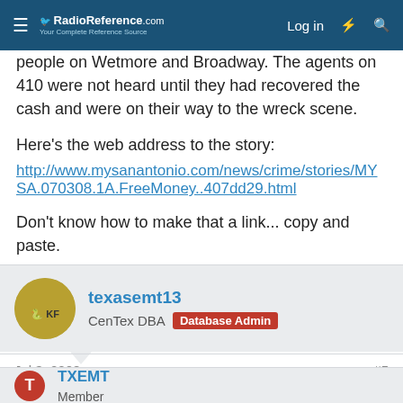RadioReference.com — Log in
people on Wetmore and Broadway. The agents on 410 were not heard until they had recovered the cash and were on their way to the wreck scene.
Here's the web address to the story:
http://www.mysanantonio.com/news/crime/stories/MYSA.070308.1A.FreeMoney..407dd29.html
Don't know how to make that a link... copy and paste.
texasemt13
CenTex DBA  Database Admin
Jul 3, 2008  #5
Magically made itself a link... awesome. This site is possessed.
TXEMT
Member